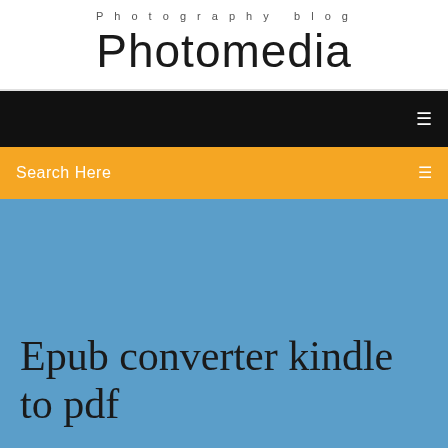Photography blog
Photomedia
Search Here
Epub converter kindle to pdf